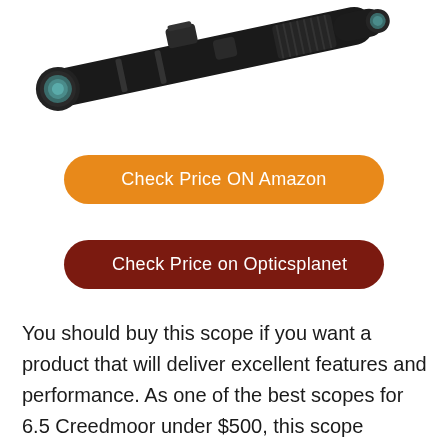[Figure (photo): Partial view of a rifle scope / spotting scope on white background, angled diagonally, showing the objective lens end and body. Dark black finish with teal-colored lens visible.]
Check Price ON Amazon
Check Price on Opticsplanet
You should buy this scope if you want a product that will deliver excellent features and performance. As one of the best scopes for 6.5 Creedmoor under $500, this scope provides a litany of configurations,